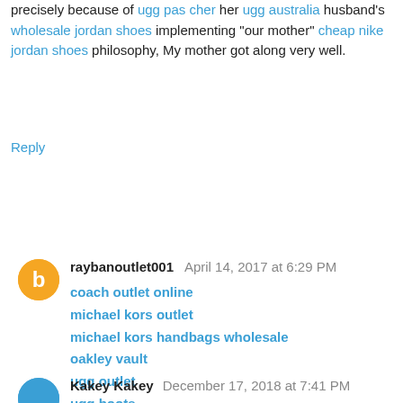precisely because of ugg pas cher her ugg australia husband's wholesale jordan shoes implementing "our mother" cheap nike jordan shoes philosophy, My mother got along very well.
Reply
raybanoutlet001   April 14, 2017 at 6:29 PM
coach outlet online
michael kors outlet
michael kors handbags wholesale
oakley vault
ugg outlet
ugg boots
air jordan uk
ralph lauren outlet
ralph lauren
michael kors outlet
Reply
Kakey Kakey   December 17, 2018 at 7:41 PM